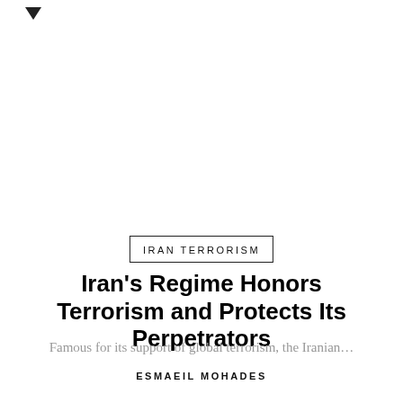▼
IRAN TERRORISM
Iran's Regime Honors Terrorism and Protects Its Perpetrators
Famous for its support of global terrorism, the Iranian...
ESMAEIL MOHADES